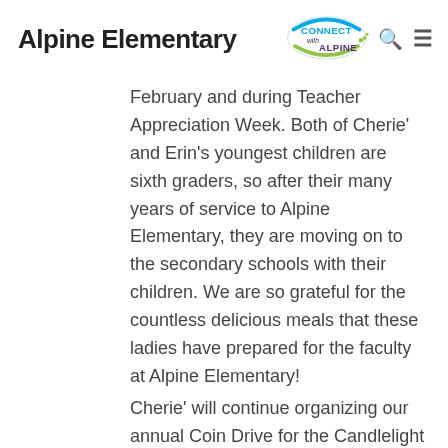Alpine Elementary
February and during Teacher Appreciation Week. Both of Cherie' and Erin's youngest children are sixth graders, so after their many years of service to Alpine Elementary, they are moving on to the secondary schools with their children. We are so grateful for the countless delicious meals that these ladies have prepared for the faculty at Alpine Elementary!
Cherie' will continue organizing our annual Coin Drive for the Candlelight School in Nairobi, Kenya!
Parent/Teacher Conferences
Thank you for all of the parents who conferenced with teachers last week. Most parents did online conferences, but I did see some parents come to the school. Please communicate with your child's teacher if you